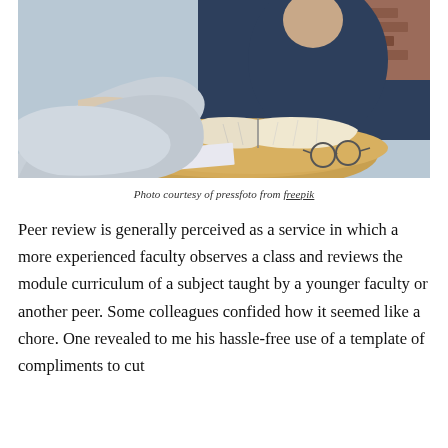[Figure (photo): Two people sitting across from each other at a round wooden table with an open book, glasses, and papers on it. One person in a light grey top has clasped hands, the other in a dark navy blue top is partially visible. Background has brick wall.]
Photo courtesy of pressfoto from freepik
Peer review is generally perceived as a service in which a more experienced faculty observes a class and reviews the module curriculum of a subject taught by a younger faculty or another peer. Some colleagues confided how it seemed like a chore. One revealed to me his hassle-free use of a template of compliments to cut